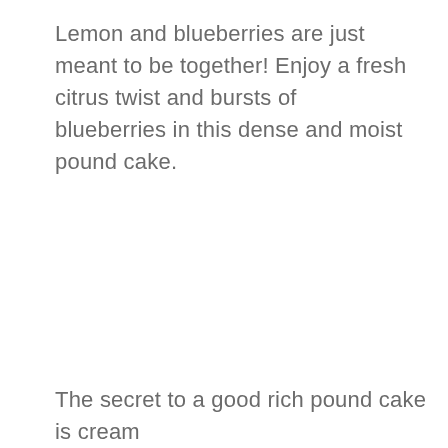Lemon and blueberries are just meant to be together! Enjoy a fresh citrus twist and bursts of blueberries in this dense and moist pound cake.
The secret to a good rich pound cake is cream